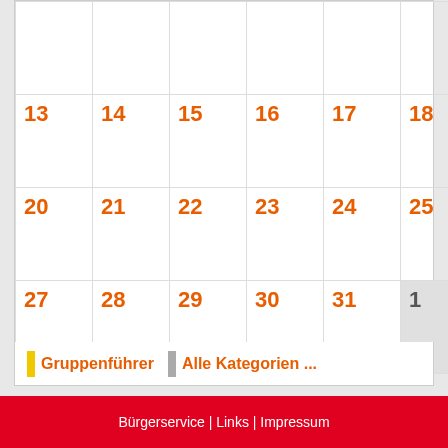| Mo | Di | Mi | Do | Fr | Sa | So |
| --- | --- | --- | --- | --- | --- | --- |
|  |  |  |  |  |  |  |
| 13 | 14 | 15 | 16 | 17 | 18 | 19 |
| 20 | 21 | 22 | 23 | 24 | 25 | 26 |
| 27 | 28 | 29 | 30 | 31 | 1 | 2 |
Gruppenführer | Alle Kategorien ...
Bürgerservice | Links | Impressum